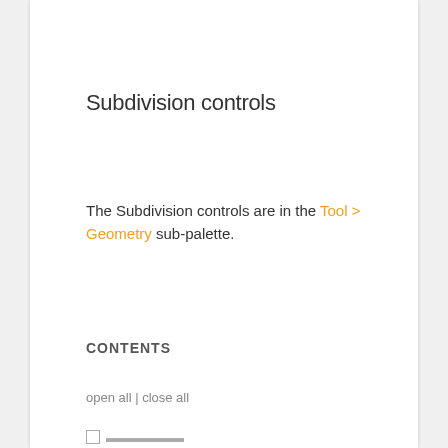Subdivision controls
The Subdivision controls are in the Tool > Geometry sub-palette.
CONTENTS
open all | close all